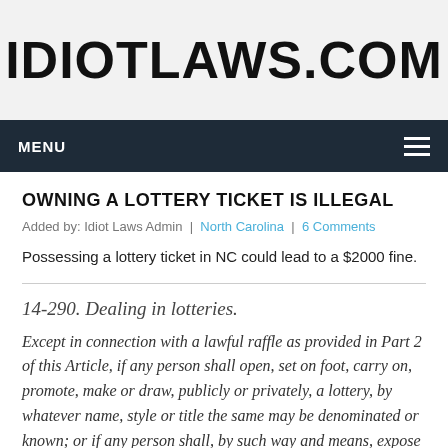IDIOTLAWS.COM
MENU
OWNING A LOTTERY TICKET IS ILLEGAL
Added by: Idiot Laws Admin | North Carolina | 6 Comments
Possessing a lottery ticket in NC could lead to a $2000 fine.
14-290. Dealing in lotteries.
Except in connection with a lawful raffle as provided in Part 2 of this Article, if any person shall open, set on foot, carry on, promote, make or draw, publicly or privately, a lottery, by whatever name, style or title the same may be denominated or known; or if any person shall, by such way and means, expose or set to sale any